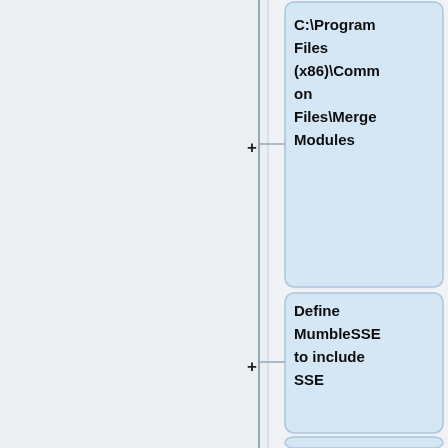[Figure (flowchart): Flowchart showing tree nodes with connector lines and plus symbols. Four node boxes visible: 'C:\Program Files (x86)\Common Files\Merge Modules', 'Define MumbleSSE to include SSE', 'Define MumbleNoSSE2 to exclude SSE2', 'Define MumbleNoG15 to exclude G15'. Each node connected by a vertical line with a plus symbol and horizontal connector.]